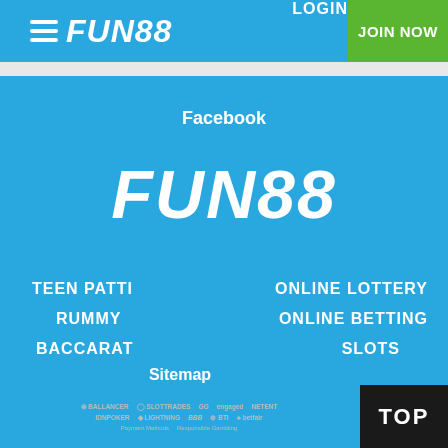FUN88  LOGIN  JOIN NOW
Facebook
[Figure (logo): FUN88 logo in large white italic bold font on blue background]
TEEN PATTI
ONLINE LOTTERY
RUMMY
ONLINE BETTING
BACCARAT
SLOTS
Sitemap
[Figure (logo): Row of partner/provider logos including GG, Engaged, NetEnt, IDNPoker, Lightning, BBB, BTI, Betfair]